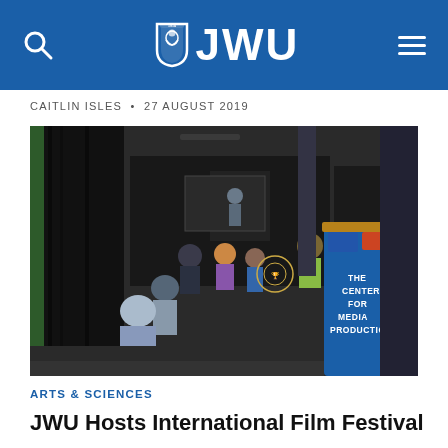JWU (Johnson & Wales University) navigation header with search icon, logo, and menu
CAITLIN ISLES • 27 AUGUST 2019
[Figure (photo): Interior of The Center for Media Production at JWU. Audience members seated in chairs watching a presentation or screening. Blue reception desk/counter with 'THE CENTER FOR MEDIA PRODUCTION' text visible on the right side. Dark curtains and pillars in background.]
ARTS & SCIENCES
JWU Hosts International Film Festival